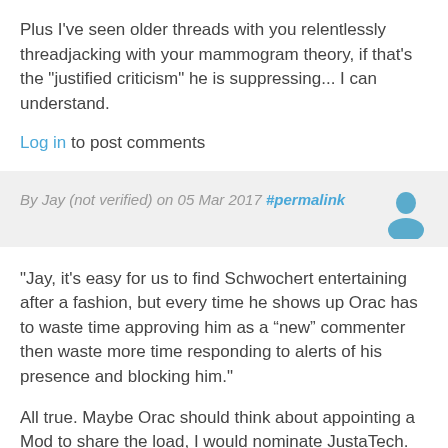Plus I've seen older threads with you relentlessly threadjacking with your mammogram theory, if that's the "justified criticism" he is suppressing... I can understand.
Log in to post comments
By Jay (not verified) on 05 Mar 2017 #permalink
[Figure (illustration): User avatar icon in blue]
"Jay, it's easy for us to find Schwochert entertaining after a fashion, but every time he shows up Orac has to waste time approving him as a “new” commenter then waste more time responding to alerts of his presence and blocking him."
All true. Maybe Orac should think about appointing a Mod to share the load, I would nominate JustaTech. For being an all round good egg. :)